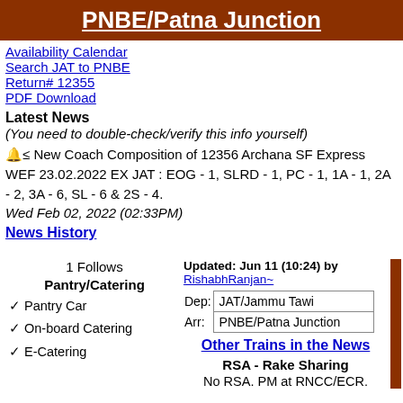PNBE/Patna Junction
Availability Calendar
Search JAT to PNBE
Return# 12355
PDF Download
Latest News
(You need to double-check/verify this info yourself)
🔔≤ New Coach Composition of 12356 Archana SF Express WEF 23.02.2022 EX JAT : EOG - 1, SLRD - 1, PC - 1, 1A - 1, 2A - 2, 3A - 6, SL - 6 & 2S - 4.
Wed Feb 02, 2022 (02:33PM)
News History
1 Follows
Pantry/Catering
✓ Pantry Car
✓ On-board Catering
✓ E-Catering
Updated: Jun 11 (10:24) by RishabhRanjan~
Dep: JAT/Jammu Tawi
Arr: PNBE/Patna Junction
Other Trains in the News
RSA - Rake Sharing
No RSA. PM at RNCC/ECR.